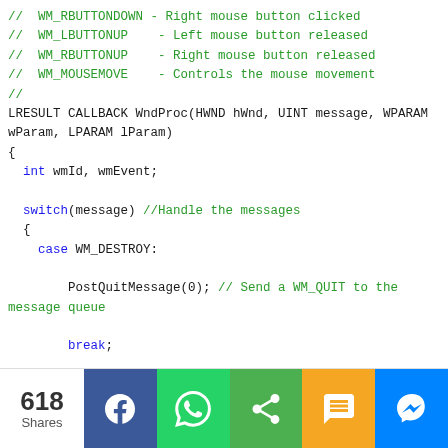// WM_RBUTTONDOWN - Right mouse button clicked
// WM_LBUTTONUP   - Left mouse button released
// WM_RBUTTONUP   - Right mouse button released
// WM_MOUSEMOVE   - Controls the mouse movement
//
LRESULT CALLBACK WndProc(HWND hWnd, UINT message, WPARAM wParam, LPARAM lParam)
{
  int wmId, wmEvent;

  switch(message) //Handle the messages
  {
    case WM_DESTROY:

        PostQuitMessage(0); // Send a WM_QUIT to the message queue

        break;

    case WM_PAINT:
        // TODO: Add any drawing code here...
        hDC = GetDC(hWnd);

        BeginPaint(hWnd, &paintStruct);
[Figure (other): Social share bar with 618 Shares count, and buttons for Facebook, WhatsApp, Share, SMS, and Messenger]